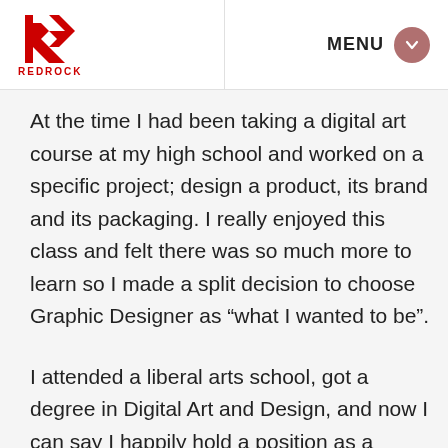REDROCK | MENU
At the time I had been taking a digital art course at my high school and worked on a specific project; design a product, its brand and its packaging. I really enjoyed this class and felt there was so much more to learn so I made a split decision to choose Graphic Designer as “what I wanted to be”.
I attended a liberal arts school, got a degree in Digital Art and Design, and now I can say I happily hold a position as a graphic designer at Red Rock.